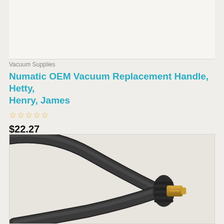[Figure (photo): White/cream product image placeholder area at top of card]
Vacuum Supplies
Numatic OEM Vacuum Replacement Handle, Hetty, Henry, James
☆☆☆☆☆
$22.27
[Figure (photo): Close-up photo of a black vacuum handle/wand connector piece with a gold/brass colored fitting at the end, curved black hose/tube visible, light gray background.]